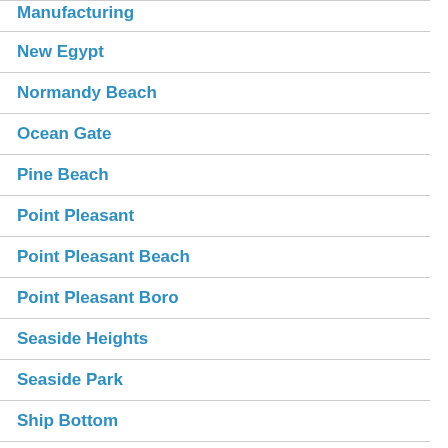Manufacturing
New Egypt
Normandy Beach
Ocean Gate
Pine Beach
Point Pleasant
Point Pleasant Beach
Point Pleasant Boro
Seaside Heights
Seaside Park
Ship Bottom
Surf City